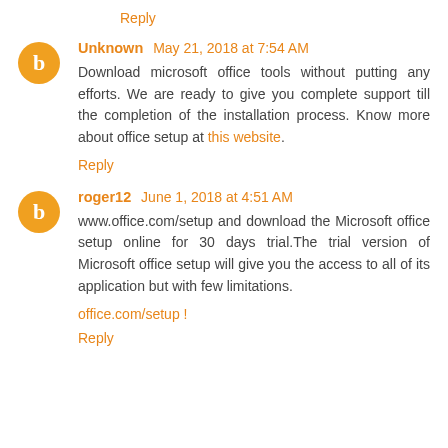Reply
Unknown  May 21, 2018 at 7:54 AM
Download microsoft office tools without putting any efforts. We are ready to give you complete support till the completion of the installation process. Know more about office setup at this website.
Reply
roger12  June 1, 2018 at 4:51 AM
www.office.com/setup and download the Microsoft office setup online for 30 days trial.The trial version of Microsoft office setup will give you the access to all of its application but with few limitations.
office.com/setup !
Reply